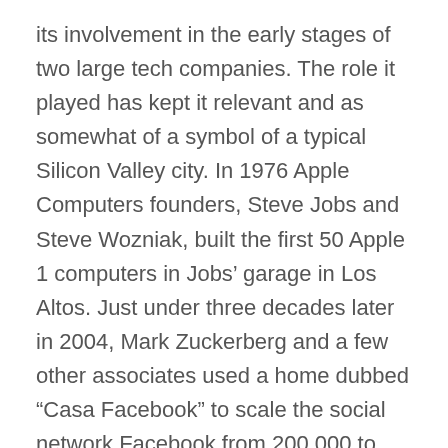its involvement in the early stages of two large tech companies. The role it played has kept it relevant and as somewhat of a symbol of a typical Silicon Valley city. In 1976 Apple Computers founders, Steve Jobs and Steve Wozniak, built the first 50 Apple 1 computers in Jobs' garage in Los Altos. Just under three decades later in 2004, Mark Zuckerberg and a few other associates used a home dubbed “Casa Facebook” to scale the social network Facebook from 200,000 to 2.5 million users.
The city was incorporated relatively late in comparison with neighboring cities, which finally occurred in 1952, due to fear of being annexed by Palo Alto or Mountain View. Los Altos has